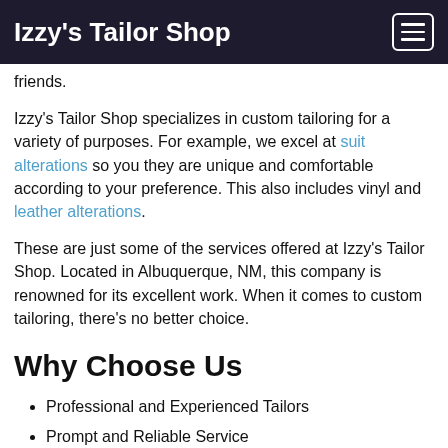Izzy's Tailor Shop
friends.
Izzy's Tailor Shop specializes in custom tailoring for a variety of purposes. For example, we excel at suit alterations so you they are unique and comfortable according to your preference. This also includes vinyl and leather alterations.
These are just some of the services offered at Izzy's Tailor Shop. Located in Albuquerque, NM, this company is renowned for its excellent work. When it comes to custom tailoring, there's no better choice.
Why Choose Us
Professional and Experienced Tailors
Prompt and Reliable Service
Affordable Rates